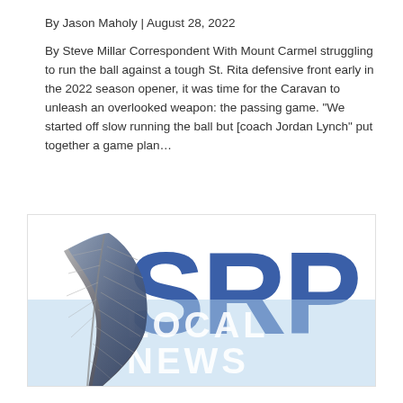By Jason Maholy | August 28, 2022
By Steve Millar Correspondent With Mount Carmel struggling to run the ball against a tough St. Rita defensive front early in the 2022 season opener, it was time for the Caravan to unleash an overlooked weapon: the passing game. “We started off slow running the ball but [coach Jordan Lynch” put together a game plan…
[Figure (logo): SRP Local News logo with a blue and grey feather/quill on the left and large blue letters 'SRP' with 'LOCAL NEWS' in white text on a light blue banner below]